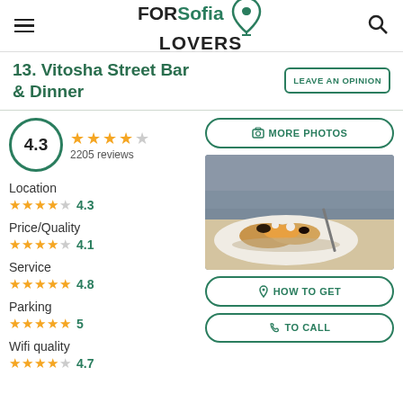FORSofia LOVERS
13. Vitosha Street Bar & Dinner
LEAVE AN OPINION
4.3 — 2205 reviews
Location 4.3
Price/Quality 4.1
Service 4.8
Parking 5
Wifi quality 4.7
[Figure (photo): Food photo showing what appears to be a pastry or sushi dish on a white plate]
MORE PHOTOS
HOW TO GET
TO CALL